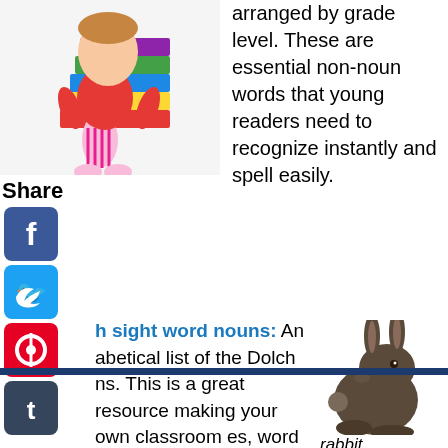[Figure (photo): Child sitting with stack of colorful books]
arranged by grade level. These are essential non-noun words that young readers need to recognize instantly and spell easily.
Share
[Figure (logo): Facebook social share icon]
[Figure (logo): Twitter social share icon]
[Figure (logo): Pinterest social share icon]
[Figure (logo): Tumblr social share icon]
[Figure (logo): Reddit social share icon]
[Figure (logo): WhatsApp social share icon]
h sight word nouns: An alphabetical list of the Dolch ns. This is a great resource making your own classroom es, word walls and sheets. It's easy for kids to
[Figure (photo): Brown rabbit sitting]
rabbit